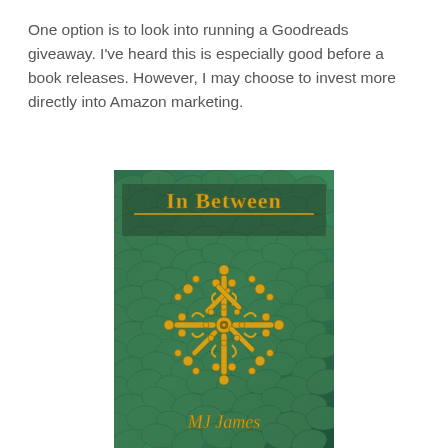One option is to look into running a Goodreads giveaway. I've heard this is especially good before a book releases. However, I may choose to invest more directly into Amazon marketing.
[Figure (illustration): Book cover for 'In Between' by MJ James. Green leafy background with a golden ornate mandala/snowflake design in the center. Title 'In Between' in gold decorative text at the top, author name 'MJ James' in gold italic text at the bottom.]